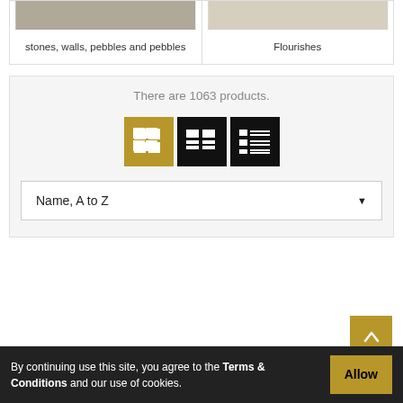stones, walls, pebbles and pebbles
Flourishes
There are 1063 products.
[Figure (screenshot): Three view-mode toggle buttons: grid view (gold/active), two-column view (black), list view (black)]
Name, A to Z
By continuing use this site, you agree to the Terms & Conditions and our use of cookies.
Allow